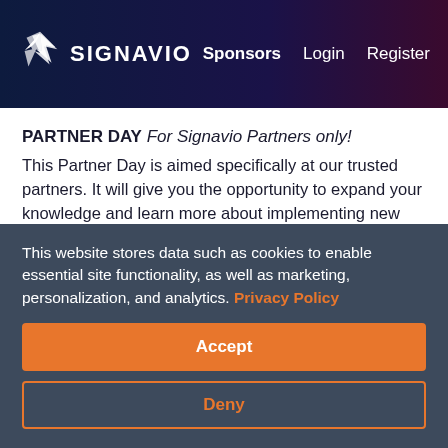SIGNAVIO | Sponsors  Login  Register
PARTNER DAY For Signavio Partners only! This Partner Day is aimed specifically at our trusted partners. It will give you the opportunity to expand your knowledge and learn more about implementing new strategies with Signavio. We have gathered international speakers who will present their experiences and results and give you more information about working with Signavio.
This website stores data such as cookies to enable essential site functionality, as well as marketing, personalization, and analytics. Privacy Policy
Accept
Deny